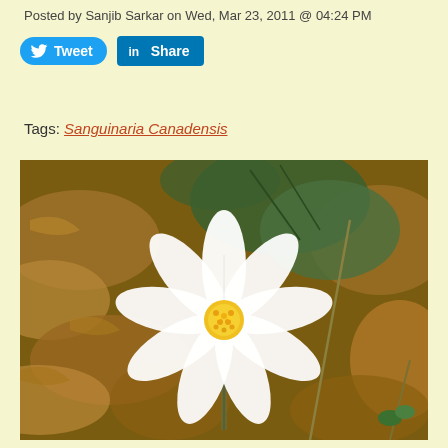Posted by Sanjib Sarkar on Wed, Mar 23, 2011 @ 04:24 PM
[Figure (other): Tweet and LinkedIn Share social media buttons]
Tags: Sanguinaria Canadensis
[Figure (photo): A white bloodroot flower (Sanguinaria canadensis) with yellow center stamens blooming among brown fallen leaves and green foliage on the forest floor.]